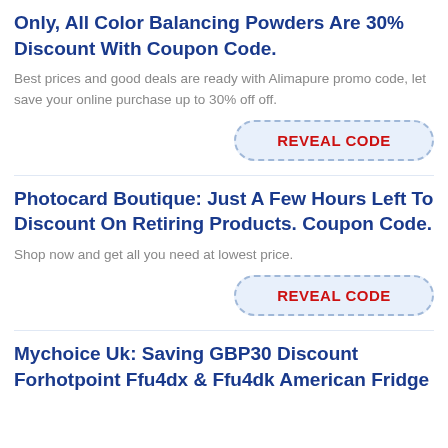Only, All Color Balancing Powders Are 30% Discount With Coupon Code.
Best prices and good deals are ready with Alimapure promo code, let save your online purchase up to 30% off off.
[Figure (other): REVEAL CODE button with dashed blue border and light blue background]
Photocard Boutique: Just A Few Hours Left To Discount On Retiring Products. Coupon Code.
Shop now and get all you need at lowest price.
[Figure (other): REVEAL CODE button with dashed blue border and light blue background]
Mychoice Uk: Saving GBP30 Discount Forhotpoint Ffu4dx & Ffu4dk American Fridge